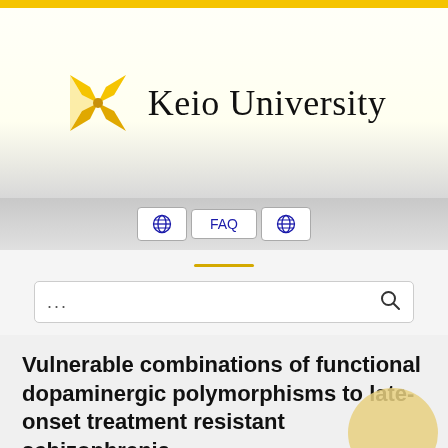[Figure (logo): Keio University logo: two crossed golden pen nibs forming an X shape, beside the text 'Keio University' in serif font]
[Figure (screenshot): Navigation bar with two globe icon buttons and a FAQ text link between them, styled as white pill buttons on grey background]
[Figure (screenshot): Search bar with ellipsis placeholder and magnifying glass search icon]
Vulnerable combinations of functional dopaminergic polymorphisms to late-onset treatment resistant schizophrenia